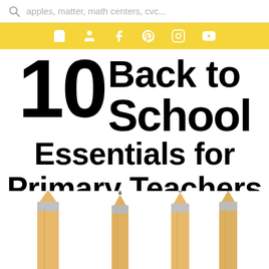apples, matter, math centers, cvc...
[Figure (other): Navigation bar with social media and shopping icons on yellow background: shopping cart, person/account, Facebook f, Pinterest, Instagram, YouTube]
10 Back to School Essentials for Primary Teachers
[Figure (photo): Three sharpened pencils pointing upward from the bottom of the image against a white background]